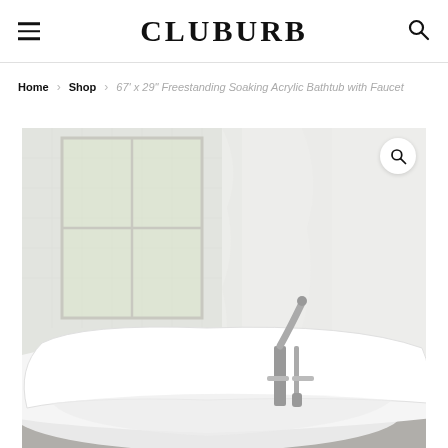CLUBURB
Home > Shop > 67' x 29" Freestanding Soaking Acrylic Bathtub with Faucet
[Figure (photo): White freestanding soaking acrylic bathtub with a brushed nickel floor-mounted faucet and hand shower, photographed in a bright white tiled bathroom with large windows and sheer curtains. A magnifying glass search icon appears in the upper right corner of the photo.]